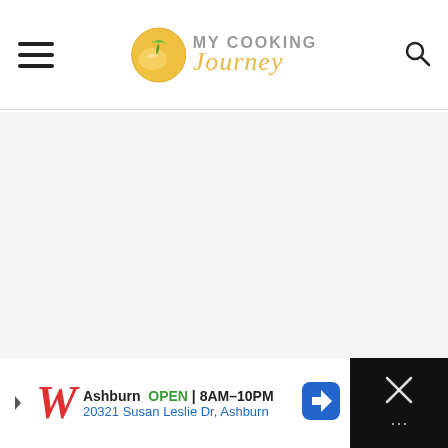My Cooking Journey
[Figure (other): Large blank/empty content area (advertisement placeholder or image not loaded), light gray background]
[Figure (other): Advertisement banner: Walgreens logo with 'Ashburn OPEN | 8AM-10PM' and address '20321 Susan Leslie Dr, Ashburn', with navigation arrow icon and close button on dark background]